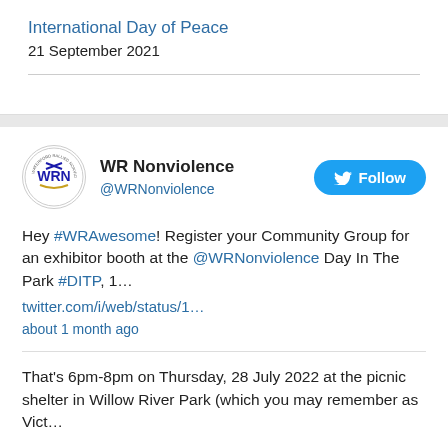International Day of Peace
21 September 2021
[Figure (logo): WR Nonviolence circular logo with WRN text and blue/gold coloring]
WR Nonviolence @WRNonviolence
Hey #WRAwesome! Register your Community Group for an exhibitor booth at the @WRNonviolence Day In The Park #DITP, 1… twitter.com/i/web/status/1… about 1 month ago
That's 6pm-8pm on Thursday, 28 July 2022 at the picnic shelter in Willow River Park (which you may remember as Vict…